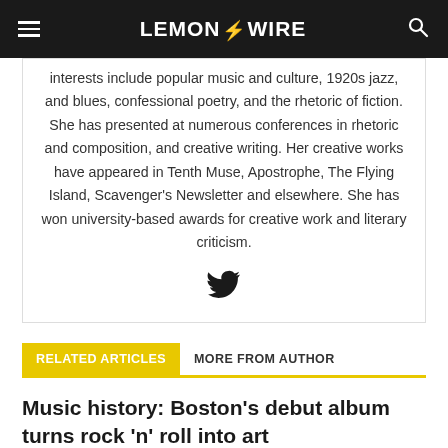LEMON ZZ WIRE
interests include popular music and culture, 1920s jazz, and blues, confessional poetry, and the rhetoric of fiction. She has presented at numerous conferences in rhetoric and composition, and creative writing. Her creative works have appeared in Tenth Muse, Apostrophe, The Flying Island, Scavenger's Newsletter and elsewhere. She has won university-based awards for creative work and literary criticism.
[Figure (illustration): Twitter bird icon]
RELATED ARTICLES | MORE FROM AUTHOR
Music history: Boston's debut album turns rock 'n' roll into art
[Figure (illustration): Play button icon]